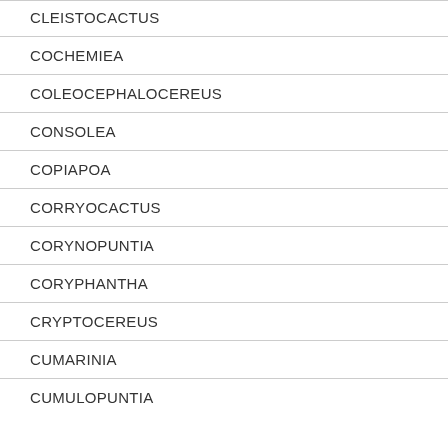CLEISTOCACTUS
COCHEMIEA
COLEOCEPHALOCEREUS
CONSOLEA
COPIAPOA
CORRYOCACTUS
CORYNOPUNTIA
CORYPHANTHA
CRYPTOCEREUS
CUMARINIA
CUMULOPUNTIA